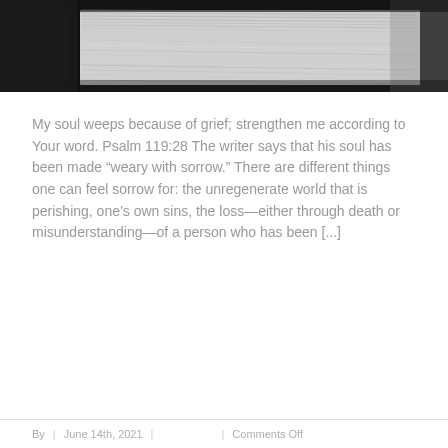[Figure (photo): Black and white close-up photograph of a Bible or book with pages fanned, with a dark ribbon bookmark, high contrast monochrome image]
My soul weeps because of grief; strengthen me according to Your word. Psalm 119:28 The writer says that his soul has been made “weary with sorrow.” There are different things one can feel sorrow for: the unregenerate world that is perishing, one’s own sins, the loss—either through death or misunderstanding—of a person who has been [...]
By | June 14th, 2021 | | Comments Off